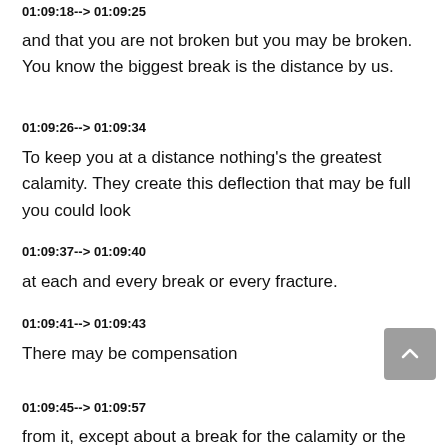01:09:18--> 01:09:25
and that you are not broken but you may be broken. You know the biggest break is the distance by us.
01:09:26--> 01:09:34
To keep you at a distance nothing's the greatest calamity. They create this deflection that may be full you could look
01:09:37--> 01:09:40
at each and every break or every fracture.
01:09:41--> 01:09:43
There may be compensation
01:09:45--> 01:09:57
from it, except about a break for the calamity or the loss in one's the